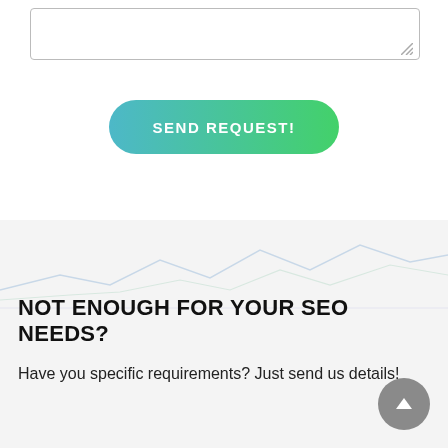[Figure (screenshot): Textarea input box with resize handle at bottom right]
[Figure (other): Send Request button with teal-to-green gradient, pill-shaped]
[Figure (continuous-plot): Light line chart background decoration in light gray/blue tones on a light gray section background]
NOT ENOUGH FOR YOUR SEO NEEDS?
Have you specific requirements? Just send us details!